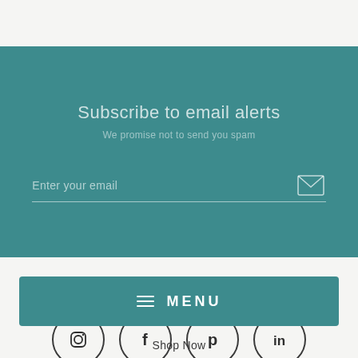Subscribe to email alerts
We promise not to send you spam
Enter your email
INR ₹
[Figure (illustration): Four social media icon circles: Instagram, Facebook, Pinterest, LinkedIn]
MENU
Shop Now